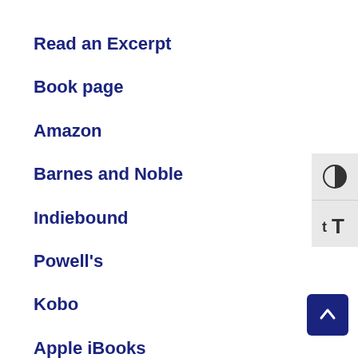Read an Excerpt
Book page
Amazon
Barnes and Noble
Indiebound
Powell's
Kobo
Apple iBooks